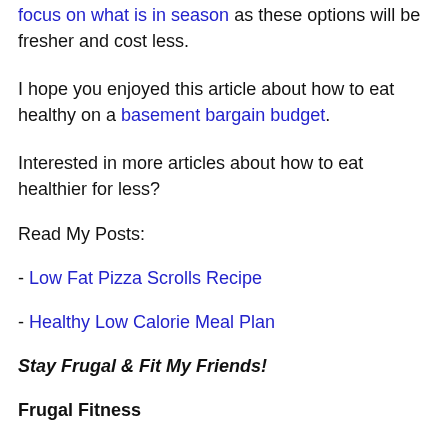focus on what is in season as these options will be fresher and cost less.
I hope you enjoyed this article about how to eat healthy on a basement bargain budget.
Interested in more articles about how to eat healthier for less?
Read My Posts:
- Low Fat Pizza Scrolls Recipe
- Healthy Low Calorie Meal Plan
Stay Frugal & Fit My Friends!
Frugal Fitness